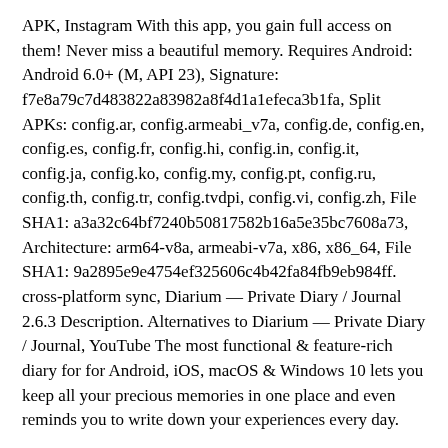APK, Instagram With this app, you gain full access on them! Never miss a beautiful memory. Requires Android: Android 6.0+ (M, API 23), Signature: f7e8a79c7d483822a83982a8f4d1a1efeca3b1fa, Split APKs: config.ar, config.armeabi_v7a, config.de, config.en, config.es, config.fr, config.hi, config.in, config.it, config.ja, config.ko, config.my, config.pt, config.ru, config.th, config.tr, config.tvdpi, config.vi, config.zh, File SHA1: a3a32c64bf7240b50817582b16a5e35bc7608a73, Architecture: arm64-v8a, armeabi-v7a, x86, x86_64, File SHA1: 9a2895e9e4754ef325606c4b42fa84fb9eb984ff. cross-platform sync, Diarium — Private Diary / Journal 2.6.3 Description. Alternatives to Diarium — Private Diary / Journal, YouTube The most functional & feature-rich diary for for Android, iOS, macOS & Windows 10 lets you keep all your precious memories in one place and even reminds you to write down your experiences every day.
For the app submitted by users, APKFab.com will verify its APK signature safety before release it on our website. Using APKPure App to upgrade Diaro, fast, free and save your internet data. All APK / XAPK files on APKFab.com are original and 100% safe with fast download. Never miss a beautiful memory.
Simple, secure, speak-to-write personal journal. All download links